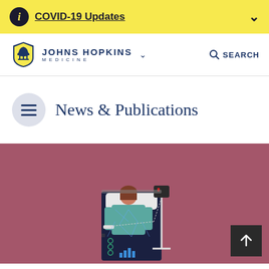COVID-19 Updates
[Figure (logo): Johns Hopkins Medicine logo with shield/dome icon]
News & Publications
[Figure (illustration): Medical illustration of a patient lying in a hospital bed connected to a monitor, overlaid on a dark data/network visualization, on a mauve/dusty rose background]